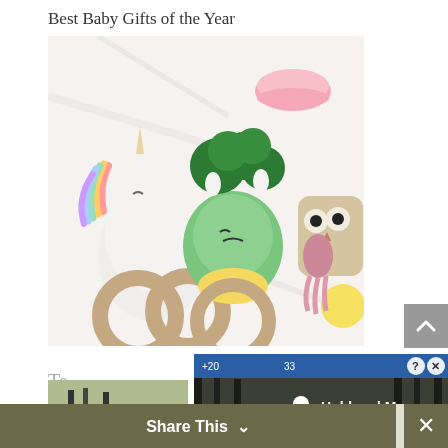Best Baby Gifts of the Year
[Figure (photo): Three crocheted baby rattle toys with wooden teething rings: a unicorn, a dinosaur/broccoli, and an owl/bird character, photographed on a marble surface with colorful accents]
Te
[Figure (screenshot): Video game or app advertisement overlay showing 'Hold and Move' text with icon, over an outdoor winter scene background, with help and close buttons]
[Figure (photo): Partial thumbnail of outdoor scene with dark vehicle]
Share This
×